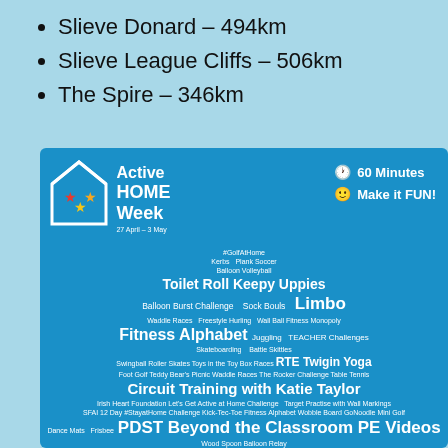Slieve Donard – 494km
Slieve League Cliffs – 506km
The Spire – 346km
[Figure (infographic): Active Home Week infographic on blue background. Shows the Active Home Week logo (house icon with coloured stars, dated 27 April – 3 May), icons for '60 Minutes' and 'Make it FUN!', and a word cloud of activities including Circuit Training with Katie Taylor, Fitness Alphabet, Limbo, Toilet Roll Keepy Uppies, PDST Beyond the Classroom PE Videos, Local Sports Partnerships Online Classes, Foot Shake Dance Challenge, and many more.]